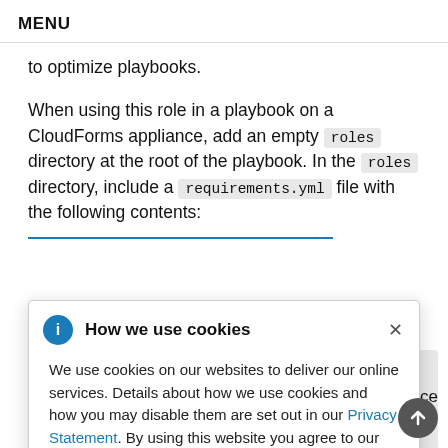MENU
to optimize playbooks.
When using this role in a playbook on a CloudForms appliance, add an empty roles directory at the root of the playbook. In the roles directory, include a requirements.yml file with the following contents:
How we use cookies
We use cookies on our websites to deliver our online services. Details about how we use cookies and how you may disable them are set out in our Privacy Statement. By using this website you agree to our use of cookies.